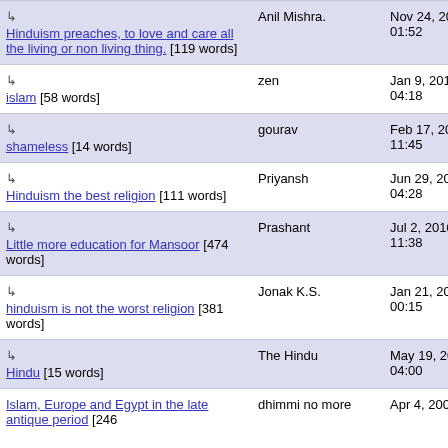↳ Hinduism preaches, to love and care all the living or non living thing. [119 words] | Anil Mishra. | Nov 24, 2015 01:52
↳ islam [58 words] | zen | Jan 9, 2016 04:18
↳ shameless [14 words] | gourav | Feb 17, 2016 11:45
↳ Hinduism the best religion [111 words] | Priyansh | Jun 29, 2016 04:28
↳ Little more education for Mansoor [474 words] | Prashant | Jul 2, 2016 11:38
↳ hinduism is not the worst religion [381 words] | Jonak K.S. | Jan 21, 2017 00:15
↳ Hindu [15 words] | The Hindu | May 19, 2017 04:00
Islam, Europe and Egypt in the late antique period [246 words] | dhimmi no more | Apr 4, 2008